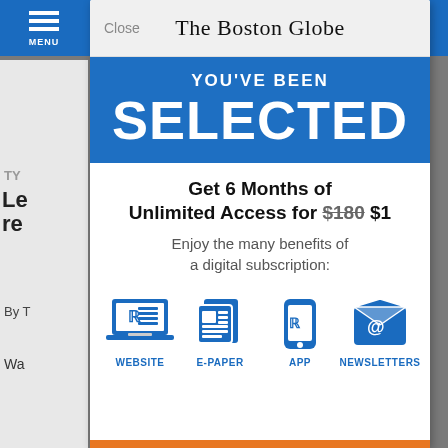[Figure (screenshot): Screenshot of The Boston Globe website with a subscription modal overlay. The modal shows 'YOU'VE BEEN SELECTED' in a blue banner, an offer for '6 Months of Unlimited Access for $180 $1', and four benefit icons: WEBSITE, E-PAPER, APP, NEWSLETTERS. The background shows a partially visible article and the Boston Globe navigation bar.]
Close
The Boston Globe
YOU'VE BEEN
SELECTED
Get 6 Months of Unlimited Access for $180 $1
Enjoy the many benefits of a digital subscription:
WEBSITE
E-PAPER
APP
NEWSLETTERS